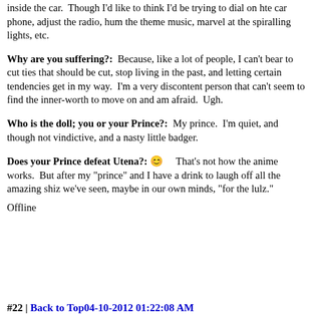inside the car.  Though I'd like to think I'd be trying to dial on hte car phone, adjust the radio, hum the theme music, marvel at the spiralling lights, etc.
Why are you suffering?:  Because, like a lot of people, I can't bear to cut ties that should be cut, stop living in the past, and letting certain tendencies get in my way.  I'm a very discontent person that can't seem to find the inner-worth to move on and am afraid.  Ugh.
Who is the doll; you or your Prince?:  My prince.  I'm quiet, and though not vindictive, and a nasty little badger.
Does your Prince defeat Utena?:  [smiley]  That's not how the anime works.  But after my "prince" and I have a drink to laugh off all the amazing shiz we've seen, maybe in our own minds, "for the lulz."
Offline
#22 | Back to Top04-10-2012 01:22:08 AM